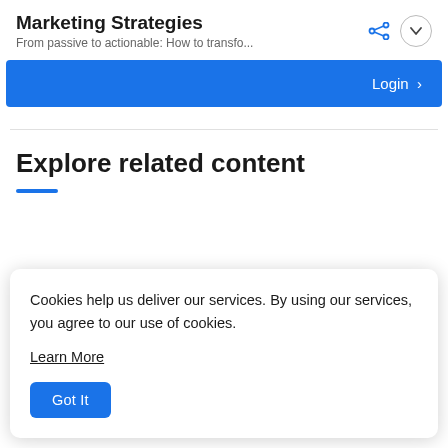Marketing Strategies
From passive to actionable: How to transfo...
[Figure (screenshot): Blue Login bar with right-arrow chevron button]
Explore related content
Cookies help us deliver our services. By using our services, you agree to our use of cookies.
Learn More
Got It